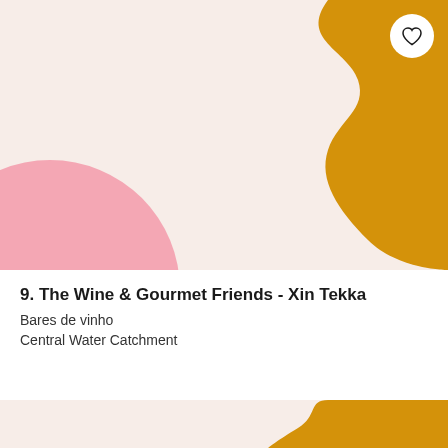[Figure (illustration): Decorative app card background with cream/pink top section, pink circle on left, gold/mustard organic blob shape on right side, and a white heart/favorite button in top-right corner]
9. The Wine & Gourmet Friends - Xin Tekka
Bares de vinho
Central Water Catchment
[Figure (illustration): Decorative bottom section with cream background and gold/mustard organic blob on the right]